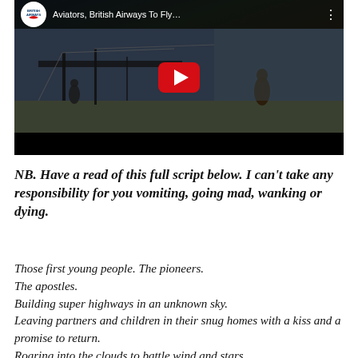[Figure (screenshot): YouTube video thumbnail for 'Aviators, British Airways To Fly...' with British Airways logo, dark vintage aircraft scene, and red YouTube play button in center.]
NB.  Have a read of this full script below. I can't take any responsibility for you vomiting, going mad, wanking or dying.
Those first young people.  The pioneers.
The apostles.
Building super highways in an unknown sky.
Leaving partners and children in their snug homes with a kiss and a promise to return.
Roaring into the clouds to battle wind and stars